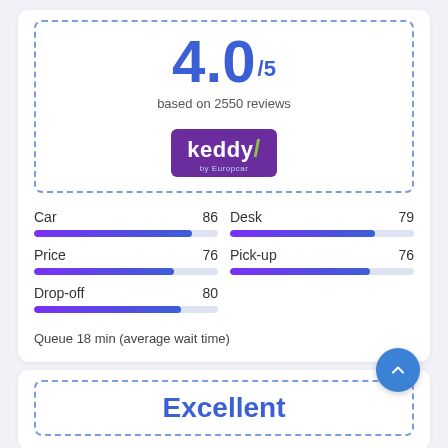4.0/5
based on 2550 reviews
[Figure (logo): Keddy by Europcar logo — white text on purple rounded rectangle]
[Figure (bar-chart): Rating metrics]
Queue 18 min (average wait time)
Excellent